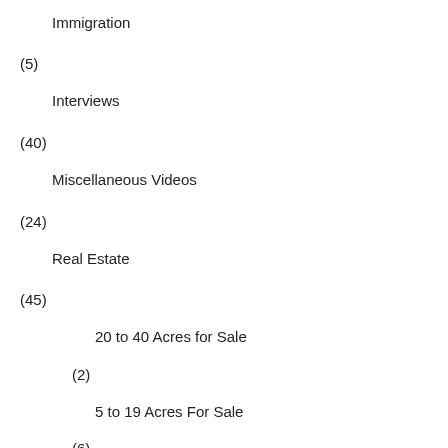Immigration
(5)
Interviews
(40)
Miscellaneous Videos
(24)
Real Estate
(45)
20 to 40 Acres for Sale
(2)
5 to 19 Acres For Sale
(6)
Homes/Villas
(13)
Lots Smaller Than 5 Acres
(15)